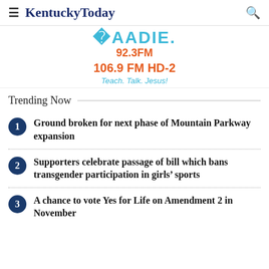KentuckyToday
[Figure (advertisement): Radio station advertisement showing logo, 92.3FM, 106.9 FM HD-2, Teach. Talk. Jesus!]
Trending Now
Ground broken for next phase of Mountain Parkway expansion
Supporters celebrate passage of bill which bans transgender participation in girls' sports
A chance to vote Yes for Life on Amendment 2 in November